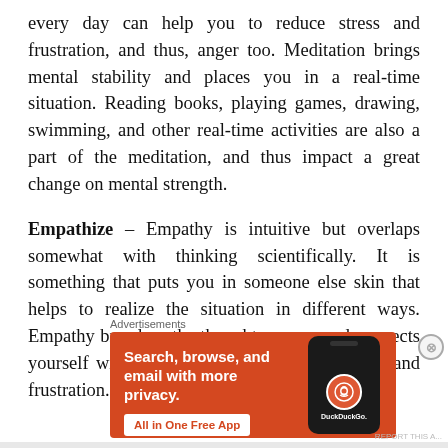every day can help you to reduce stress and frustration, and thus, anger too. Meditation brings mental stability and places you in a real-time situation. Reading books, playing games, drawing, swimming, and other real-time activities are also a part of the meditation, and thus impact a great change on mental strength.
Empathize – Empathy is intuitive but overlaps somewhat with thinking scientifically. It is something that puts you in someone else skin that helps to realize the situation in different ways. Empathy broadens the thought process and connects yourself with others. It is an antidote to anger and frustration.
[Figure (other): DuckDuckGo advertisement banner with orange background showing 'Search, browse, and email with more privacy. All in One Free App' text and a smartphone image with DuckDuckGo logo]